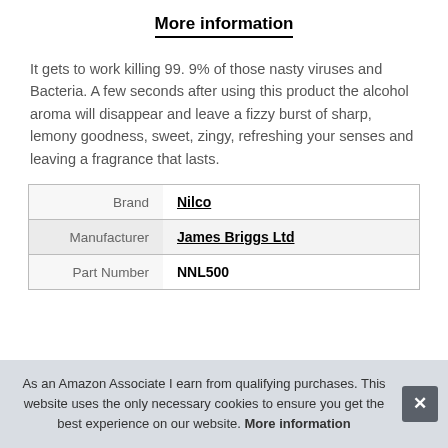More information
It gets to work killing 99. 9% of those nasty viruses and Bacteria. A few seconds after using this product the alcohol aroma will disappear and leave a fizzy burst of sharp, lemony goodness, sweet, zingy, refreshing your senses and leaving a fragrance that lasts.
|  |  |
| --- | --- |
| Brand | Nilco |
| Manufacturer | James Briggs Ltd |
| Part Number | NNL500 |
As an Amazon Associate I earn from qualifying purchases. This website uses the only necessary cookies to ensure you get the best experience on our website. More information